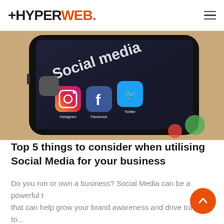+HYPERWEB.
[Figure (photo): A close-up photograph of a smartphone lying on a wooden surface, showing the screen with social media app icons including Instagram, Facebook, and Twitter, with 'Social media' text overlay.]
Top 5 things to consider when utilising Social Media for your business
Do you run or own a business? Social Media can be a powerful t that can help grow your brand awareness and drive traffic to...